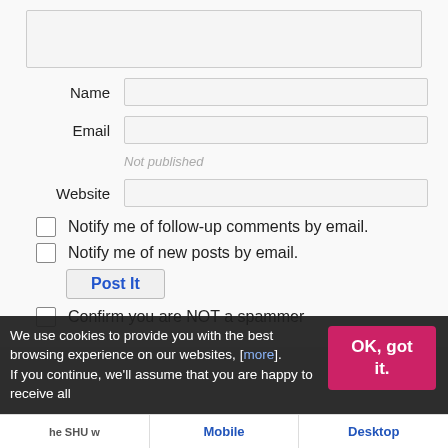[Figure (screenshot): A comment form with textarea, Name field, Email field with 'Not published' note, Website field, two checkboxes for email notifications, a Post It button, and a spam confirmation checkbox.]
Name
Email
Not published
Website
Notify me of follow-up comments by email.
Notify me of new posts by email.
Post It
Confirm you are NOT a spammer
We use cookies to provide you with the best browsing experience on our websites, [more]. If you continue, we'll assume that you are happy to receive all
OK, got it.
Mobile
Desktop